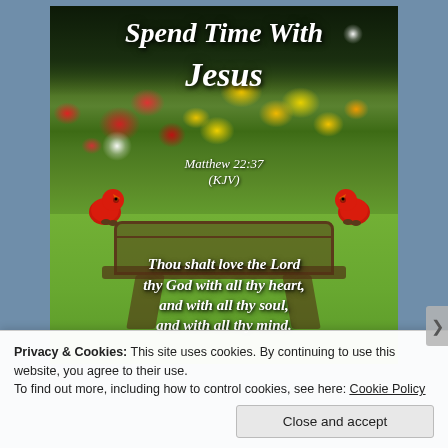[Figure (photo): Inspirational religious image with a garden background featuring colorful flowers (red and yellow), green lawn, a wooden bench, two red cardinals perched on the bench, sparkle/light effects, and text overlay reading 'Spend Time With Jesus' with Bible verse Matthew 22:37 (KJV): 'Thou shalt love the Lord thy God with all thy heart, and with all thy soul, and with all thy mind.']
Privacy & Cookies: This site uses cookies. By continuing to use this website, you agree to their use.
To find out more, including how to control cookies, see here: Cookie Policy
Close and accept